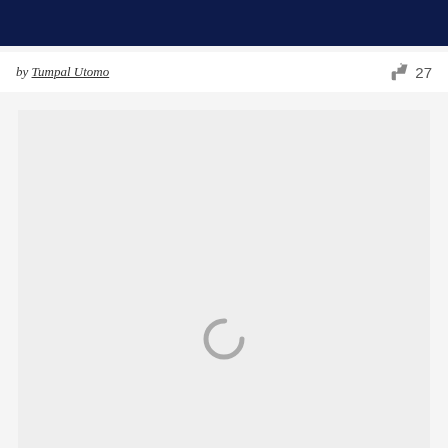[Figure (other): Dark navy blue banner/header bar at top of page]
by Tumpal Utomo
27
[Figure (other): Light gray content area with a loading spinner (circular arc) indicating content is loading]